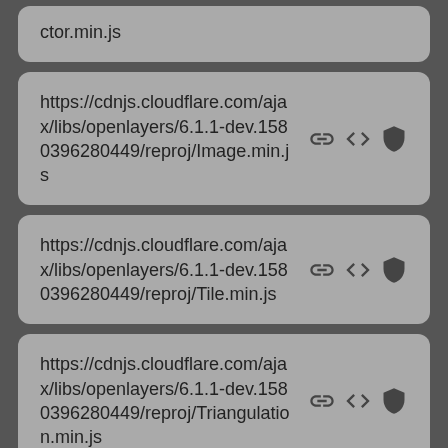ctor.min.js
https://cdnjs.cloudflare.com/ajax/libs/openlayers/6.1.1-dev.1580396280449/reproj/Image.min.js
https://cdnjs.cloudflare.com/ajax/libs/openlayers/6.1.1-dev.1580396280449/reproj/Tile.min.js
https://cdnjs.cloudflare.com/ajax/libs/openlayers/6.1.1-dev.1580396280449/reproj/Triangulation.min.js